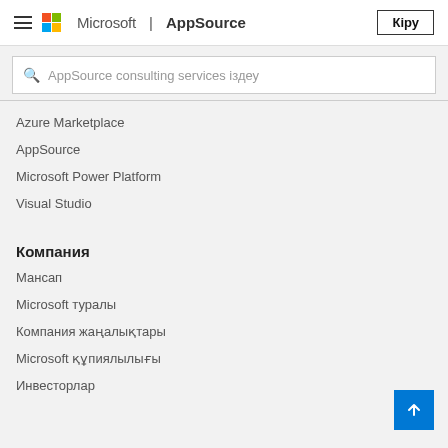Microsoft | AppSource — Кіру
AppSource consulting services іздеу
Azure Marketplace
AppSource
Microsoft Power Platform
Visual Studio
Компания
Мансап
Microsoft туралы
Компания жаңалықтары
Microsoft құпиялылығы
Инвесторлар